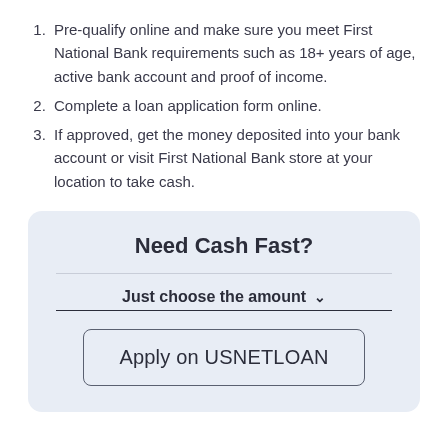Pre-qualify online and make sure you meet First National Bank requirements such as 18+ years of age, active bank account and proof of income.
Complete a loan application form online.
If approved, get the money deposited into your bank account or visit First National Bank store at your location to take cash.
Need Cash Fast?
Just choose the amount
Apply on USNETLOAN